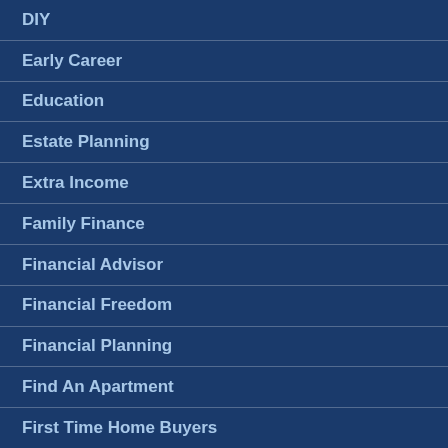DIY
Early Career
Education
Estate Planning
Extra Income
Family Finance
Financial Advisor
Financial Freedom
Financial Planning
Find An Apartment
First Time Home Buyers